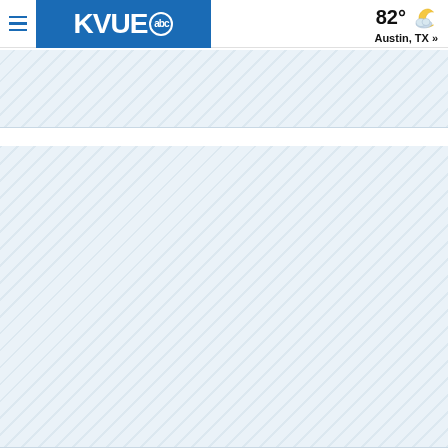KVUE abc — 82° Austin, TX »
[Figure (other): Ad placeholder / loading area with diagonal stripe pattern, top band]
[Figure (other): Ad placeholder / loading area with diagonal stripe pattern, large lower block]